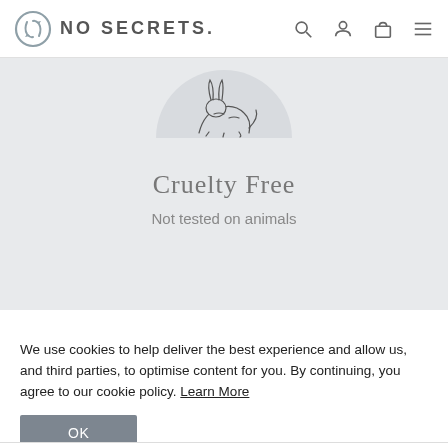NO SECRETS.
[Figure (illustration): Circular illustration of an animal (rabbit or similar) in engraving style, cropped at top]
Cruelty Free
Not tested on animals
We use cookies to help deliver the best experience and allow us, and third parties, to optimise content for you. By continuing, you agree to our cookie policy. Learn More
OK